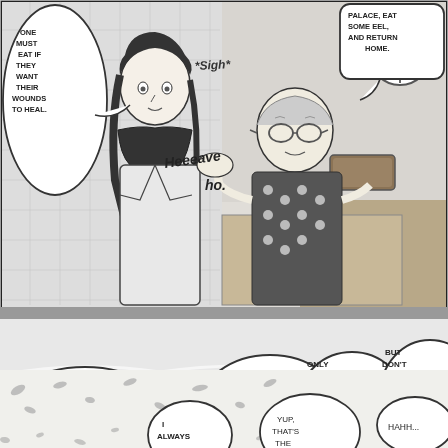[Figure (illustration): Manga page with three panels. Top panel shows two characters in an interior setting with a clock on the wall - a young woman with a scarf and an older woman/grandmother figure, with speech bubbles. Middle large panel shows an outdoor urban scene with buildings, plants, and a character with multiple speech bubbles giving dietary instructions. Bottom strip panel shows falling petals/leaves with partial speech bubbles.]
ONE MUST EAT IF THEY WANT THEIR WOUNDS TO HEAL.
PALACE, EAT SOME EEL, AND RETURN HOME.
*Sigh*
Heeeave ho.
Oh quiet down! I thought grandma had come back to life for a moment there!
AND GO SLOW! START WITH SOME CLEAR BROTH SOUP!!
ONLY A HALF PORTION OF RICE!
BUT DON'T EAT THE FULL MEAL, OKAY ?!
I ALWAYS
YUP, THAT'S THE
HAHH...